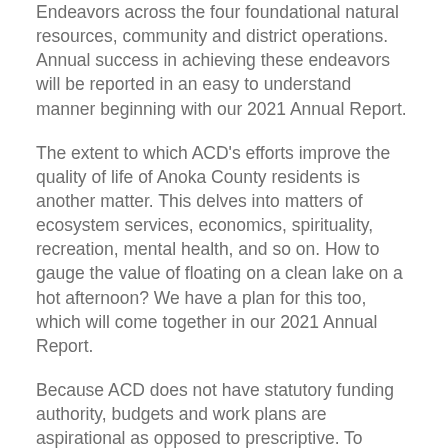Endeavors across the four foundational natural resources, community and district operations. Annual success in achieving these endeavors will be reported in an easy to understand manner beginning with our 2021 Annual Report.
The extent to which ACD's efforts improve the quality of life of Anoka County residents is another matter. This delves into matters of ecosystem services, economics, spirituality, recreation, mental health, and so on. How to gauge the value of floating on a clean lake on a hot afternoon? We have a plan for this too, which will come together in our 2021 Annual Report.
Because ACD does not have statutory funding authority, budgets and work plans are aspirational as opposed to prescriptive. To project future budgets, expense and revenue trends over the prior ten years were used. The following revenue and expense projects may appear aggressive at first glance. Considering that Anoka County has over 350,000